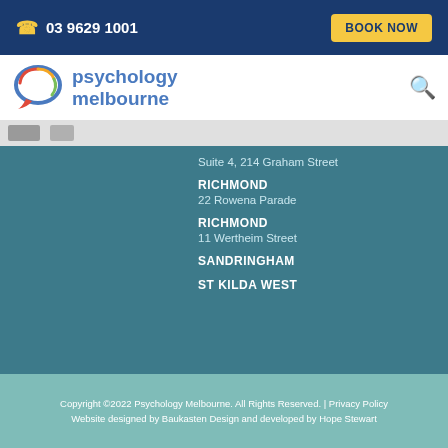03 9629 1001  BOOK NOW
[Figure (logo): Psychology Melbourne logo with speech bubble icon]
Suite 4, 214 Graham Street
RICHMOND
22 Rowena Parade
RICHMOND
11 Wertheim Street
SANDRINGHAM
ST KILDA WEST
Copyright ©2022 Psychology Melbourne. All Rights Reserved. | Privacy Policy
Website designed by Baukasten Design and developed by Hope Stewart